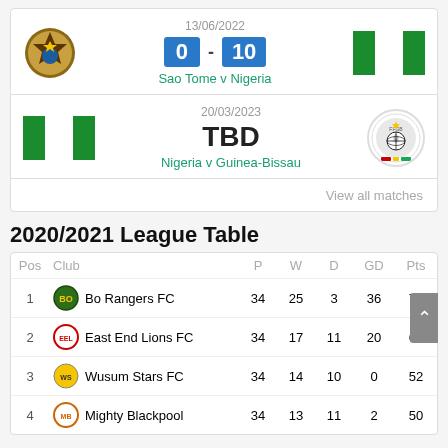[Figure (infographic): Match card: Sao Tome v Nigeria, 13/06/2022, score 0-10]
[Figure (infographic): Match card: Nigeria v Guinea-Bissau, 20/03/2023, TBD]
View all matches
2020/2021 League Table
| Pos | Club | P | W | D | GD | Pts |
| --- | --- | --- | --- | --- | --- | --- |
| 1 | Bo Rangers FC | 34 | 25 | 3 | 36 | 78 |
| 2 | East End Lions FC | 34 | 17 | 11 | 20 | 62 |
| 3 | Wusum Stars FC | 34 | 14 | 10 | 0 | 52 |
| 4 | Mighty Blackpool | 34 | 13 | 11 | 2 | 50 |